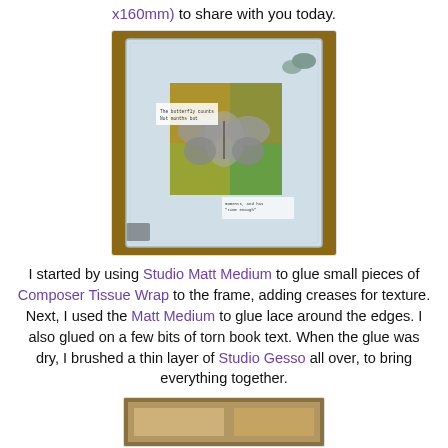x160mm) to share with you today.
[Figure (photo): A handmade mixed-media photo frame decorated with tissue wrap, lace, and book text, featuring a butterfly motif on a green/yellow painted background, with decorative butterfly embellishments in the top right corner.]
I started by using Studio Matt Medium to glue small pieces of Composer Tissue Wrap to the frame, adding creases for texture. Next, I used the Matt Medium to glue lace around the edges. I also glued on a few bits of torn book text. When the glue was dry, I brushed a thin layer of Studio Gesso all over, to bring everything together.
[Figure (photo): Partial view of a second craft project photo at the bottom of the page.]